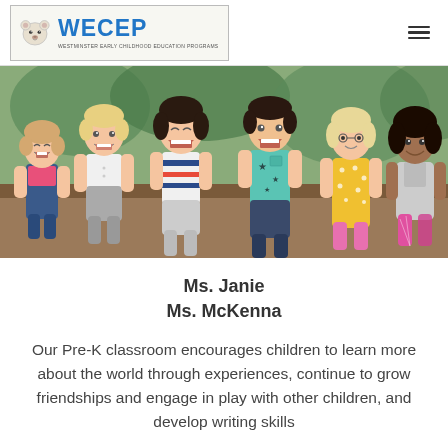WECEP - Westminster Early Childhood Education Programs
[Figure (photo): Six young children sitting together in a row, laughing and smiling, wearing colorful clothes]
Ms. Janie
Ms. McKenna
Our Pre-K classroom encourages children to learn more about the world through experiences, continue to grow friendships and engage in play with other children, and develop writing skills